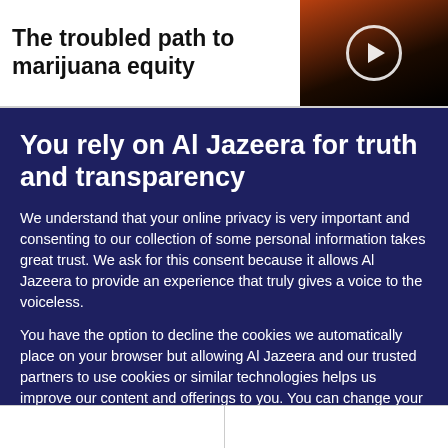The troubled path to marijuana equity
[Figure (photo): Dark video thumbnail with a play button circle overlay, showing a flame/torch in reddish-orange tones against a dark background.]
You rely on Al Jazeera for truth and transparency
We understand that your online privacy is very important and consenting to our collection of some personal information takes great trust. We ask for this consent because it allows Al Jazeera to provide an experience that truly gives a voice to the voiceless.
You have the option to decline the cookies we automatically place on your browser but allowing Al Jazeera and our trusted partners to use cookies or similar technologies helps us improve our content and offerings to you. You can change your privacy preferences at any time by selecting ‘Cookie preferences’ at the bottom of your screen. To learn more, please view our Cookie Policy.